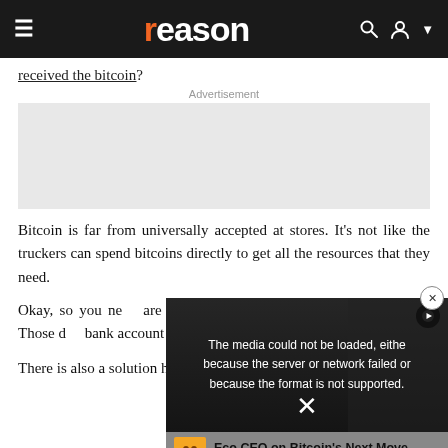reason
received the bitcoin?
Advertisement
[Figure (other): Advertisement placeholder box (gray)]
Bitcoin is far from universally accepted at stores. It's not like the truckers can spend bitcoins directly to get all the resources that they need.
Okay, so you ne... are the most co... dollars. Those d... bank account o... on the underdo...
[Figure (screenshot): Video overlay showing 'The media could not be loaded, either because the server or network failed or because the format is not supported.' with Eco CEO on Bitcoin's Next Move title and CoinDesk logo]
There is also a solution here, but it's not easy, either.